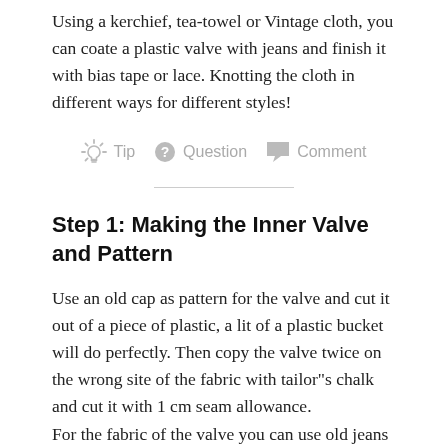Using a kerchief, tea-towel or Vintage cloth, you can coate a plastic valve with jeans and finish it with bias tape or lace. Knotting the cloth in different ways for different styles!
Tip   Question   Comment
Step 1: Making the Inner Valve and Pattern
Use an old cap as pattern for the valve and cut it out of a piece of plastic, a lit of a plastic bucket will do perfectly. Then copy the valve twice on the wrong site of the fabric with tailor"s chalk and cut it with 1 cm seam allowance.
For the fabric of the valve you can use old jeans or